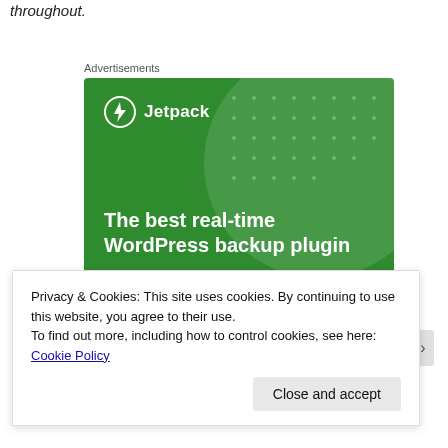throughout.
Advertisements
[Figure (illustration): Jetpack advertisement banner with green background showing a lightning bolt logo, decorative circle and dot pattern, bold white text reading 'The best real-time WordPress backup plugin', and a white rounded button labeled 'Back up your site']
Privacy & Cookies: This site uses cookies. By continuing to use this website, you agree to their use.
To find out more, including how to control cookies, see here: Cookie Policy
Close and accept